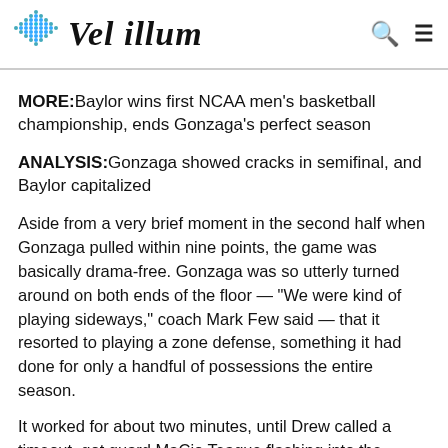Vel illum
MORE:Baylor wins first NCAA men's basketball championship, ends Gonzaga's perfect season
ANALYSIS:Gonzaga showed cracks in semifinal, and Baylor capitalized
Aside from a very brief moment in the second half when Gonzaga pulled within nine points, the game was basically drama-free. Gonzaga was so utterly turned around on both ends of the floor — “We were kind of playing sideways,” coach Mark Few said — that it resorted to playing a zone defense, something it had done for only a handful of possessions the entire season.
It worked for about two minutes, until Drew called a timeout, got guard MaCio Teague flashing into the middle for mid-range jumpers and busted it up with